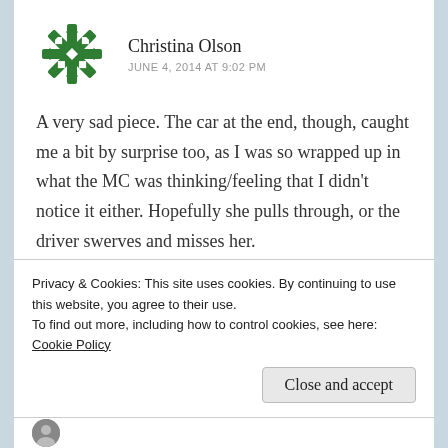[Figure (illustration): Green decorative snowflake/geometric avatar icon for user Christina Olson]
Christina Olson
JUNE 4, 2014 AT 9:02 PM
A very sad piece. The car at the end, though, caught me a bit by surprise too, as I was so wrapped up in what the MC was thinking/feeling that I didn't notice it either. Hopefully she pulls through, or the driver swerves and misses her.
Privacy & Cookies: This site uses cookies. By continuing to use this website, you agree to their use.
To find out more, including how to control cookies, see here: Cookie Policy
Close and accept